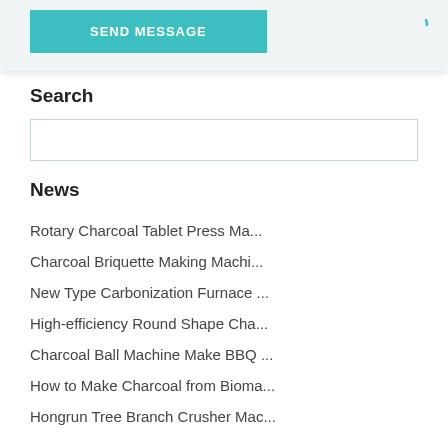[Figure (screenshot): Teal SEND MESSAGE button on a light gray panel background with a teal loading spinner in the top right corner]
Search
[Figure (screenshot): Empty search input box with light border]
News
Rotary Charcoal Tablet Press Ma...
Charcoal Briquette Making Machi...
New Type Carbonization Furnace ...
High-efficiency Round Shape Cha...
Charcoal Ball Machine Make BBQ ...
How to Make Charcoal from Bioma...
Hongrun Tree Branch Crusher Mac...